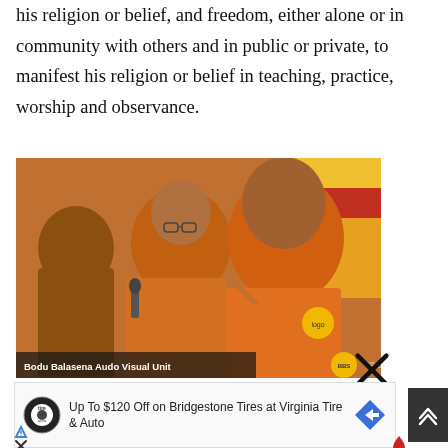his religion or belief, and freedom, either alone or in community with others and in public or private, to manifest his religion or belief in teaching, practice, worship and observance.
[Figure (photo): Photo of two men in orange attire, one appearing to be a Buddhist monk wearing orange robes and another man in an orange shirt, with a microphone visible. Overlay text reads 'Bodu Balasena Audo Visual Unit' with a logo on the right.]
Up To $120 Off on Bridgestone Tires at Virginia Tire & Auto